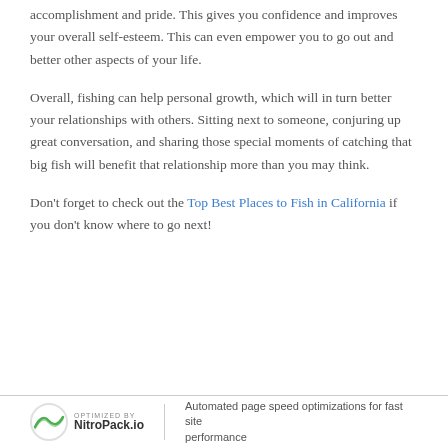accomplishment and pride. This gives you confidence and improves your overall self-esteem. This can even empower you to go out and better other aspects of your life.
Overall, fishing can help personal growth, which will in turn better your relationships with others. Sitting next to someone, conjuring up great conversation, and sharing those special moments of catching that big fish will benefit that relationship more than you may think.
Don't forget to check out the Top Best Places to Fish in California if you don't know where to go next!
Automated page speed optimizations for fast site performance